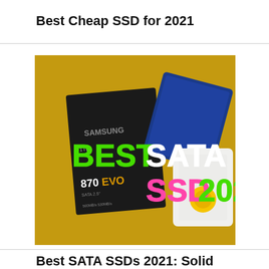Best Cheap SSD for 2021
[Figure (photo): Promotional image showing Samsung 870 EVO SSD and other SSDs on a golden/yellow background with text overlay reading 'BEST SATA SSD 2021' in green, white, pink, and green colors]
Best SATA SSDs 2021: Solid